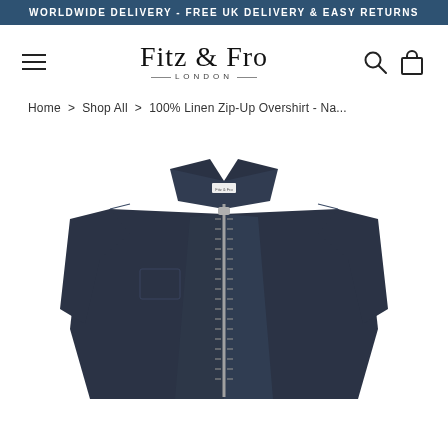WORLDWIDE DELIVERY - FREE UK DELIVERY & EASY RETURNS
[Figure (logo): Fitz & Fro London logo with hamburger menu, search icon, and bag icon]
Home > Shop All > 100% Linen Zip-Up Overshirt - Na...
[Figure (photo): Navy blue 100% linen zip-up overshirt laid flat on white background, featuring a spread collar, diagonal front zip closure, chest pocket, and a small Fitz & Fro brand label at the collar.]